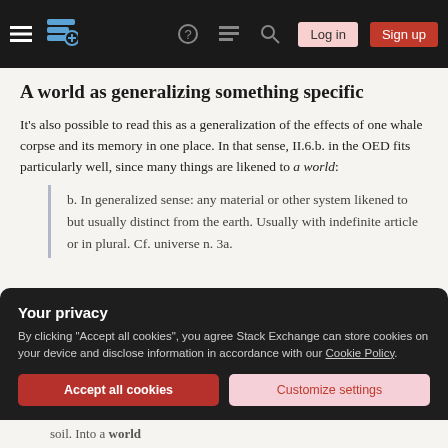Stack Exchange navigation bar with hamburger menu, logo, help, chat, search, Log in, Sign up buttons
A world as generalizing something specific
It's also possible to read this as a generalization of the effects of one whale corpse and its memory in one place. In that sense, II.6.b. in the OED fits particularly well, since many things are likened to a world:
b. In generalized sense: any material or other system likened to but usually distinct from the earth. Usually with indefinite article or in plural. Cf. universe n. 3a.
Your privacy
By clicking "Accept all cookies", you agree Stack Exchange can store cookies on your device and disclose information in accordance with our Cookie Policy.
Accept all cookies | Customize settings
soil. Into a world